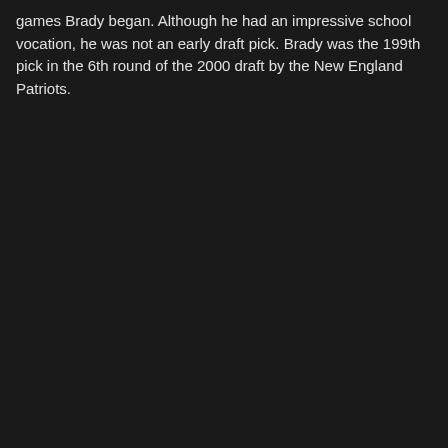games Brady began. Although he had an impressive school vocation, he was not an early draft pick. Brady was the 199th pick in the 6th round of the 2000 draft by the New England Patriots.